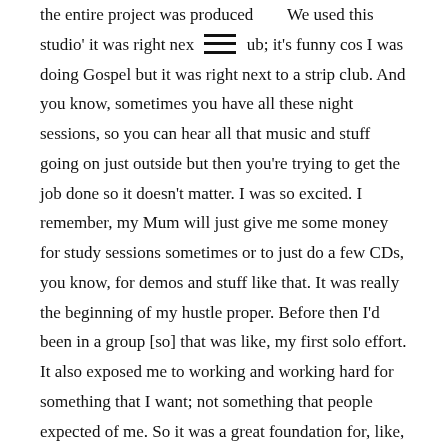the entire project was produced We used this studio' it was right nex [hamburger icon] ub; it's funny cos I was doing Gospel but it was right next to a strip club. And you know, sometimes you have all these night sessions, so you can hear all that music and stuff going on just outside but then you're trying to get the job done so it doesn't matter. I was so excited. I remember, my Mum will just give me some money for study sessions sometimes or to just do a few CDs, you know, for demos and stuff like that. It was really the beginning of my hustle proper. Before then I'd been in a group [so] that was like, my first solo effort. It also exposed me to working and working hard for something that I want; not something that people expected of me. So it was a great foundation for, like, all the endeavours that I've chased in my career.